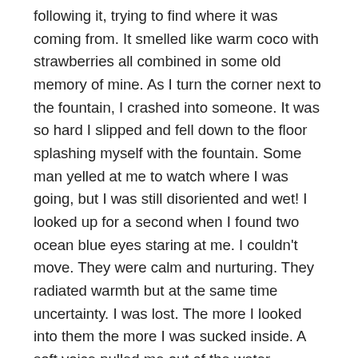following it, trying to find where it was coming from. It smelled like warm coco with strawberries all combined in some old memory of mine. As I turn the corner next to the fountain, I crashed into someone. It was so hard I slipped and fell down to the floor splashing myself with the fountain. Some man yelled at me to watch where I was going, but I was still disoriented and wet! I looked up for a second when I found two ocean blue eyes staring at me. I couldn't move. They were calm and nurturing. They radiated warmth but at the same time uncertainty. I was lost. The more I looked into them the more I was sucked inside. A soft voice pulled me out of the water. Grabbed my hand and and next thing I know I am standing in front of this beautiful blond woman. She was tall, thin, pail skin and